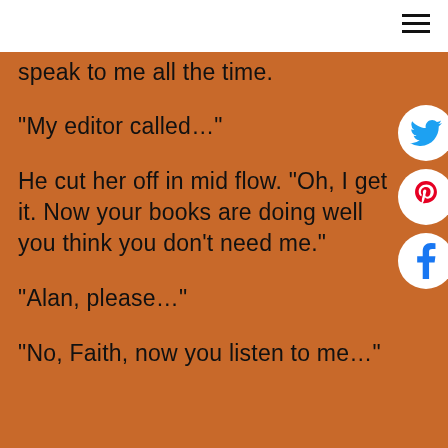speak to me all the time.
“My editor called…”
He cut her off in mid flow. “Oh, I get it. Now your books are doing well you think you don’t need me.”
“Alan, please…”
“No, Faith, now you listen to me…”